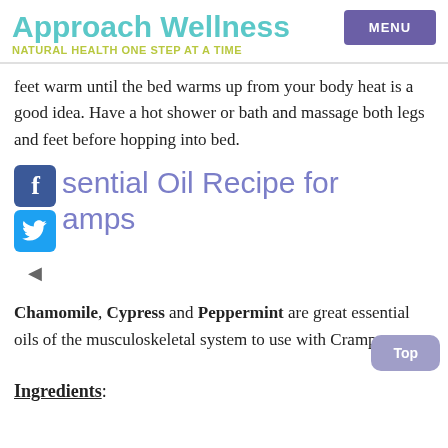Approach Wellness
NATURAL HEALTH ONE STEP AT A TIME
feet warm until the bed warms up from your body heat is a good idea. Have a hot shower or bath and massage both legs and feet before hopping into bed.
Essential Oil Recipe for Cramps
Chamomile, Cypress and Peppermint are great essential oils of the musculoskeletal system to use with Cramps.
Ingredients: